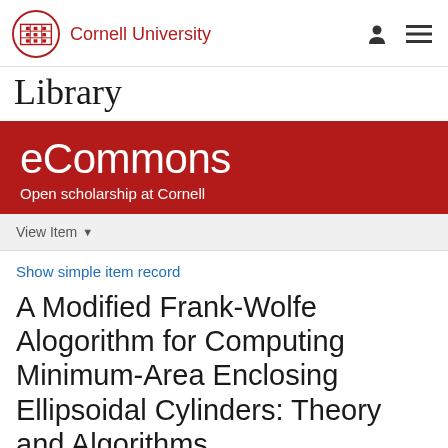[Figure (logo): Cornell University logo with shield and text 'Cornell University' in red]
Library
[Figure (infographic): eCommons banner with text 'eCommons' and 'Open scholarship at Cornell' on dark red background]
View Item
Show simple item record
A Modified Frank-Wolfe Alogorithm for Computing Minimum-Area Enclosing Ellipsoidal Cylinders: Theory and Algorithms